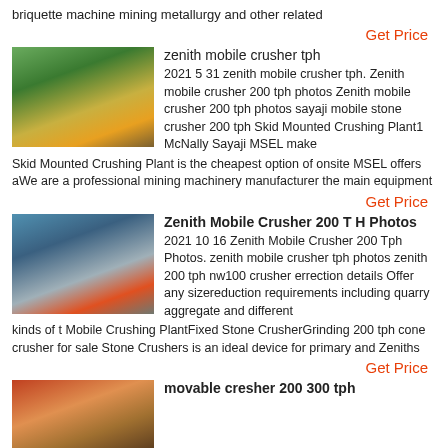briquette machine mining metallurgy and other related
Get Price
[Figure (photo): Yellow mobile crusher machine in outdoor setting with trees]
zenith mobile crusher tph
2021 5 31 zenith mobile crusher tph. Zenith mobile crusher 200 tph photos Zenith mobile crusher 200 tph photos sayaji mobile stone crusher 200 tph Skid Mounted Crushing Plant1 McNally Sayaji MSEL make Skid Mounted Crushing Plant is the cheapest option of onsite MSEL offers aWe are a professional mining machinery manufacturer the main equipment
Get Price
[Figure (photo): Industrial crusher machinery construction site with orange equipment]
Zenith Mobile Crusher 200 T H Photos
2021 10 16 Zenith Mobile Crusher 200 Tph Photos. zenith mobile crusher tph photos zenith 200 tph nw100 crusher errection details Offer any sizereduction requirements including quarry aggregate and different kinds of t Mobile Crushing PlantFixed Stone CrusherGrinding 200 tph cone crusher for sale Stone Crushers is an ideal device for primary and Zeniths
Get Price
[Figure (photo): Movable crusher machine partial view at bottom of page]
movable cresher 200 300 tph